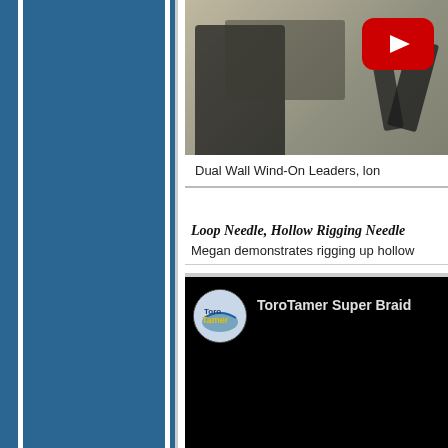[Figure (screenshot): Blue sidebar navigation panel on the left side of the page]
[Figure (screenshot): Video thumbnail showing hands working with fishing rigging tools on a table, with a red YouTube play button in the upper right corner]
Dual Wall Wind-On Leaders, lon
Loop Needle, Hollow Rigging Needle
Megan demonstrates rigging up hollow
[Figure (screenshot): YouTube video embed with black background showing ToroTamer channel logo (circular icon with fish/boat image and yellow Tamer text) and video title 'ToroTamer Super Braid']